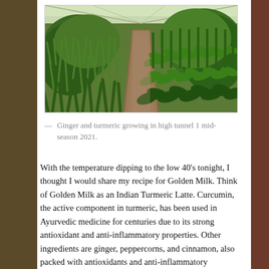[Figure (photo): Rows of ginger and turmeric plants growing in a high tunnel greenhouse, viewed from a central soil path. Plants on the left are narrow-leafed (ginger), plants on the right are broad-leafed (turmeric). Greenhouse plastic roof visible above.]
— Ginger and turmeric growing in high tunnel 1 mid-season 2021.
With the temperature dipping to the low 40's tonight, I thought I would share my recipe for Golden Milk. Think of Golden Milk as an Indian Turmeric Latte. Curcumin, the active component in turmeric, has been used in Ayurvedic medicine for centuries due to its strong antioxidant and anti-inflammatory properties. Other ingredients are ginger, peppercorns, and cinnamon, also packed with antioxidants and anti-inflammatory